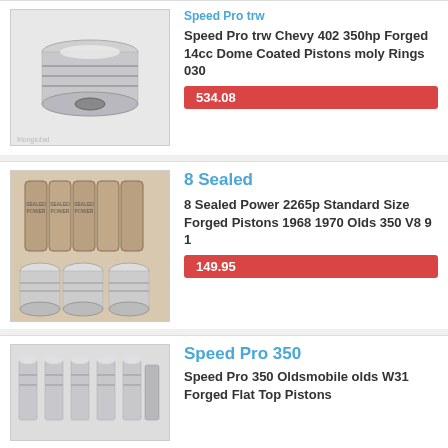[Figure (photo): Silver forged piston product photo]
Speed Pro trw Chevy 402 350hp Forged 14cc Dome Coated Pistons moly Rings 030
534.08
[Figure (photo): 8 sealed power pistons in packaging, multiple pistons shown]
8 Sealed
8 Sealed Power 2265p Standard Size Forged Pistons 1968 1970 Olds 350 V8 9 1
149.95
[Figure (photo): Speed Pro 350 pistons shown upright in a row]
Speed Pro 350
Speed Pro 350 Oldsmobile olds W31 Forged Flat Top Pistons